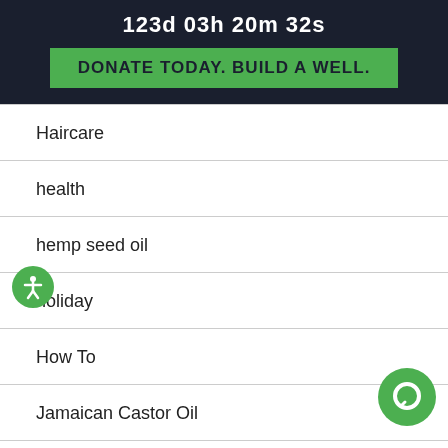123d 03h 20m 32s
DONATE TODAY. BUILD A WELL.
Haircare
health
hemp seed oil
holiday
How To
Jamaican Castor Oil
Kids
Learn